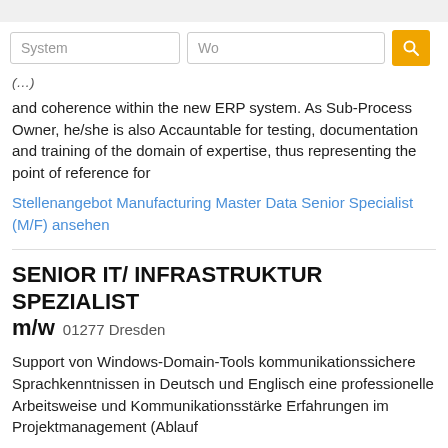(search bar with System / Wo fields)
and coherence within the new ERP system. As Sub-Process Owner, he/she is also Accauntable for testing, documentation and training of the domain of expertise, thus representing the point of reference for
Stellenangebot Manufacturing Master Data Senior Specialist (M/F) ansehen
SENIOR IT/ INFRASTRUKTUR SPEZIALIST m/w 01277 Dresden
Support von Windows-Domain-Tools kommunikationssichere Sprachkenntnissen in Deutsch und Englisch eine professionelle Arbeitsweise und Kommunikationsstärke Erfahrungen im Projektmanagement (Ablauf
Stellenangebot SENIOR IT/ INFRASTRUKTUR SPEZIALIST m/w ansehen